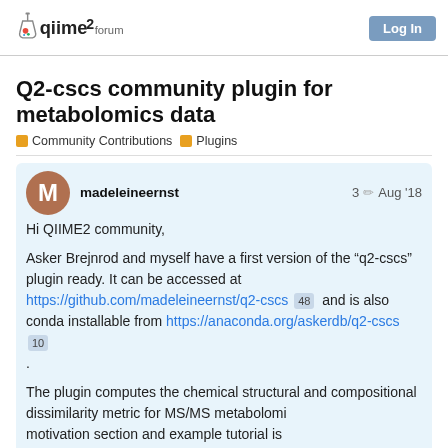qiime2 forum | Log In
Q2-cscs community plugin for metabolomics data
Community Contributions | Plugins
madeleineernst  3  Aug '18
Hi QIIME2 community,

Asker Brejnrod and myself have a first version of the “q2-cscs” plugin ready. It can be accessed at https://github.com/madeleineernst/q2-cscs 48 and is also conda installable from https://anaconda.org/askerdb/q2-cscs 10 .

The plugin computes the chemical structural and compositional dissimilarity metric for MS/MS metabolomics motivation section and example tutorial is
1 / 12